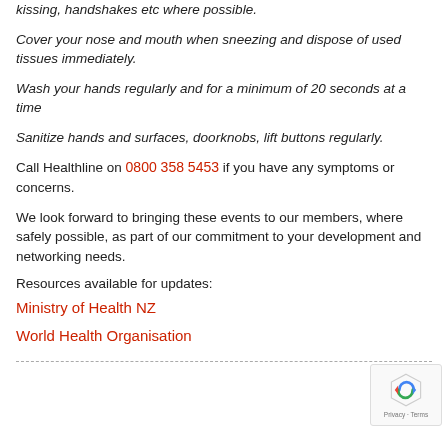kissing, handshakes etc where possible.
Cover your nose and mouth when sneezing and dispose of used tissues immediately.
Wash your hands regularly and for a minimum of 20 seconds at a time
Sanitize hands and surfaces, doorknobs, lift buttons regularly.
Call Healthline on 0800 358 5453 if you have any symptoms or concerns.
We look forward to bringing these events to our members, where safely possible, as part of our commitment to your development and networking needs.
Resources available for updates:
Ministry of Health NZ
World Health Organisation